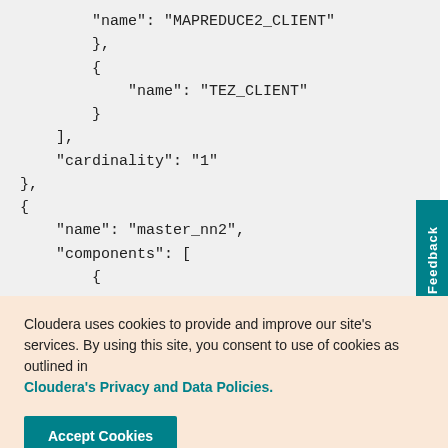"name": "MAPREDUCE2_CLIENT"
        },
        {
            "name": "TEZ_CLIENT"
        }
    ],
    "cardinality": "1"
},
{
    "name": "master_nn2",
    "components": [
        {
Cloudera uses cookies to provide and improve our site's services. By using this site, you consent to use of cookies as outlined in Cloudera's Privacy and Data Policies.
Accept Cookies